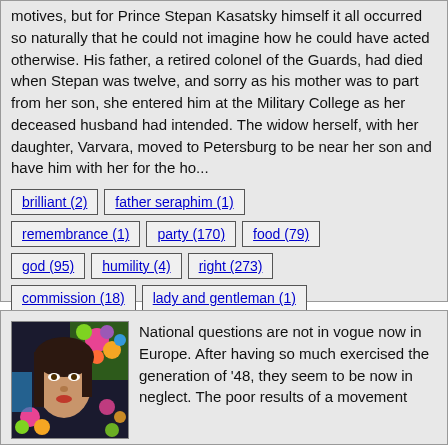motives, but for Prince Stepan Kasatsky himself it all occurred so naturally that he could not imagine how he could have acted otherwise. His father, a retired colonel of the Guards, had died when Stepan was twelve, and sorry as his mother was to part from her son, she entered him at the Military College as her deceased husband had intended. The widow herself, with her daughter, Varvara, moved to Petersburg to be near her son and have him with her for the ho...
brilliant (2)
father seraphim (1)
remembrance (1)
party (170)
food (79)
god (95)
humility (4)
right (273)
commission (18)
lady and gentleman (1)
[Figure (photo): Street art mural of a woman's face with colorful flowers and designs]
National questions are not in vogue now in Europe. After having so much exercised the generation of '48, they seem to be now in neglect. The poor results of a movement